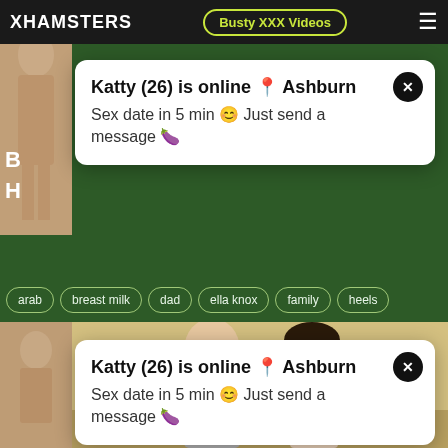XHAMSTERS | Busty XXX Videos
[Figure (photo): Thumbnail photo of a woman on left strip, top]
B
H
Katty (26) is online 📍 Ashburn
Sex date in 5 min ☺ Just send a message 🍆
arab
breast milk
dad
ella knox
family
heels
[Figure (photo): Thumbnail photo of a woman on left strip, bottom]
Katty (26) is online 📍 Ashburn
Sex date in 5 min ☺ Just send a message 🍆
[Figure (photo): Large photo of a young man and woman together in a room]